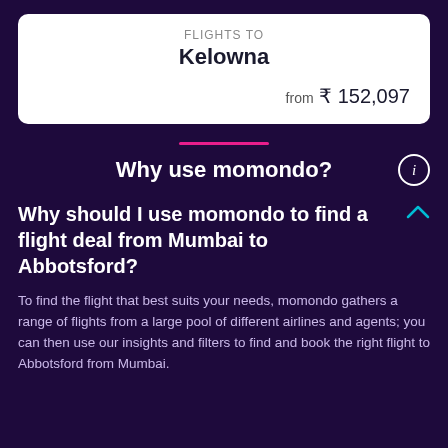FLIGHTS TO
Kelowna
from ₹ 152,097
Why use momondo?
Why should I use momondo to find a flight deal from Mumbai to Abbotsford?
To find the flight that best suits your needs, momondo gathers a range of flights from a large pool of different airlines and agents; you can then use our insights and filters to find and book the right flight to Abbotsford from Mumbai.